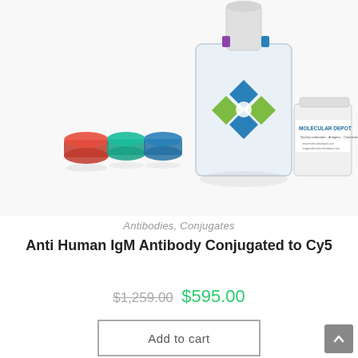[Figure (photo): Product photo showing a clear laboratory bottle with the Molecular Depot logo (four diamond shapes in blue and green), accompanied by colored vial caps (red, green, blue) on the left and a white container labeled 'MOLECULAR DEPOT' on the right.]
Antibodies, Conjugates
Anti Human IgM Antibody Conjugated to Cy5
$1,259.00  $595.00
Add to cart